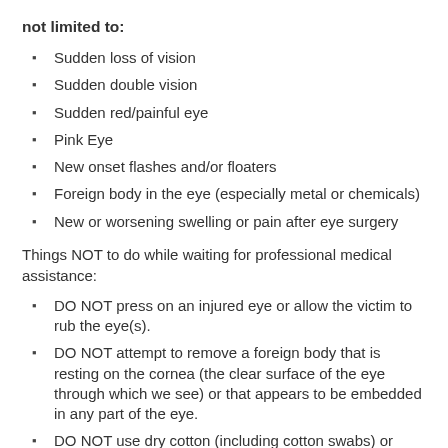not limited to:
Sudden loss of vision
Sudden double vision
Sudden red/painful eye
Pink Eye
New onset flashes and/or floaters
Foreign body in the eye (especially metal or chemicals)
New or worsening swelling or pain after eye surgery
Things NOT to do while waiting for professional medical assistance:
DO NOT press on an injured eye or allow the victim to rub the eye(s).
DO NOT attempt to remove a foreign body that is resting on the cornea (the clear surface of the eye through which we see) or that appears to be embedded in any part of the eye.
DO NOT use dry cotton (including cotton swabs) or sharp instruments (such as tweezers) on the eye.